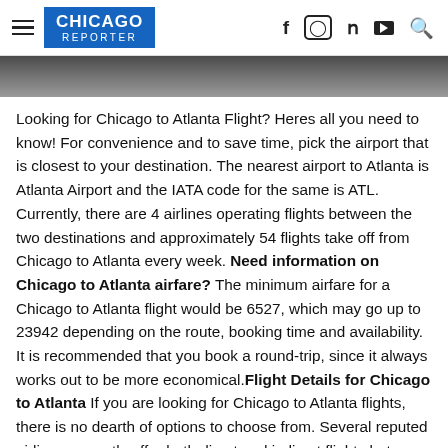CHICAGO REPORTER
[Figure (photo): Partial photo strip at top of article, dark background showing a surface in dark grey/blue tones]
Looking for Chicago to Atlanta Flight? Heres all you need to know! For convenience and to save time, pick the airport that is closest to your destination. The nearest airport to Atlanta is Atlanta Airport and the IATA code for the same is ATL. Currently, there are 4 airlines operating flights between the two destinations and approximately 54 flights take off from Chicago to Atlanta every week. Need information on Chicago to Atlanta airfare? The minimum airfare for a Chicago to Atlanta flight would be 6527, which may go up to 23942 depending on the route, booking time and availability. It is recommended that you book a round-trip, since it always works out to be more economical.Flight Details for Chicago to Atlanta If you are looking for Chicago to Atlanta flights, there is no dearth of options to choose from. Several reputed airlines currently offer both direct and indirect flights between the two destinations. Some of these are Delta Air Lines, United Airlines, Copa Air, American Airlines. Out of